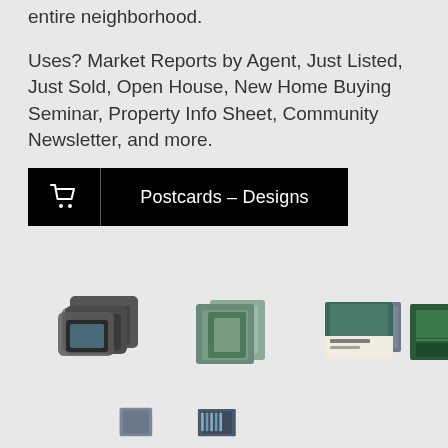entire neighborhood.
Uses? Market Reports by Agent, Just Listed, Just Sold, Open House, New Home Buying Seminar, Property Info Sheet, Community Newsletter, and more.
[Figure (other): Black button with shopping cart icon on the left and text 'Postcards – Designs' on the right, separated by a vertical line]
[Figure (other): A horizontal strip of product thumbnail images showing various printed marketing materials including business cards, brochures, postcards, flyers, and other real estate marketing products]